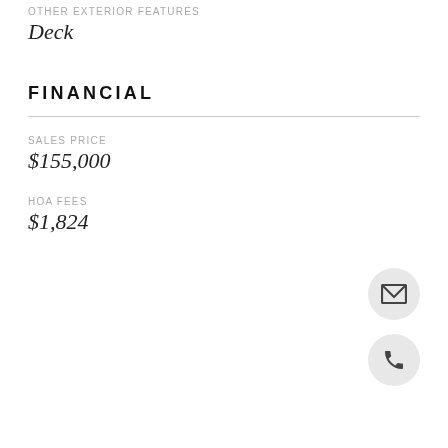OTHER EXTERIOR FEATURES
Deck
FINANCIAL
SALES PRICE
$155,000
HOA FEES
$1,824